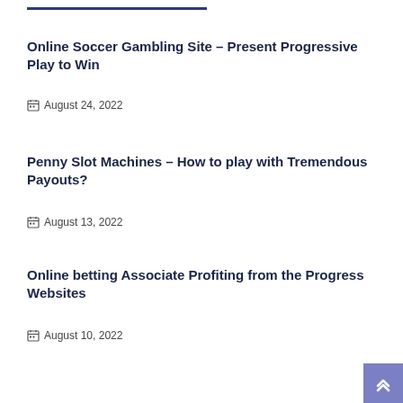Online Soccer Gambling Site – Present Progressive Play to Win
August 24, 2022
Penny Slot Machines – How to play with Tremendous Payouts?
August 13, 2022
Online betting Associate Profiting from the Progress Websites
August 10, 2022